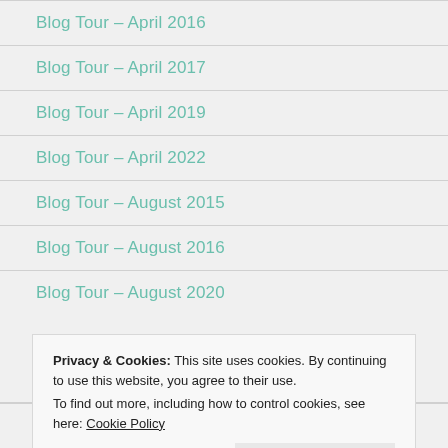Blog Tour – April 2016
Blog Tour – April 2017
Blog Tour – April 2019
Blog Tour – April 2022
Blog Tour – August 2015
Blog Tour – August 2016
Blog Tour – August 2020
Privacy & Cookies: This site uses cookies. By continuing to use this website, you agree to their use. To find out more, including how to control cookies, see here: Cookie Policy
Blog Tour – February 2016